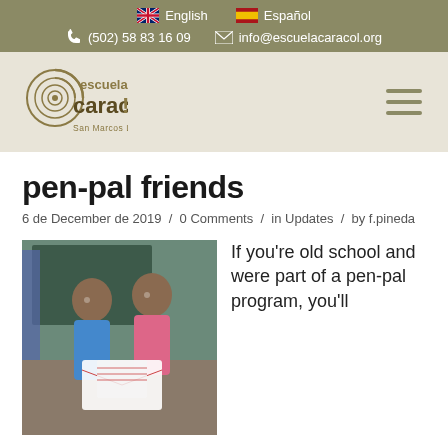English | Español | (502) 58 83 16 09 | info@escuelacaracol.org
[Figure (logo): Escuela Caracol logo with snail graphic, San Marcos La Laguna]
pen-pal friends
6 de December de 2019 / 0 Comments / in Updates / by f.pineda
[Figure (photo): Two young girls in a classroom holding envelopes/letters, smiling at the camera]
If you're old school and were part of a pen-pal program, you'll